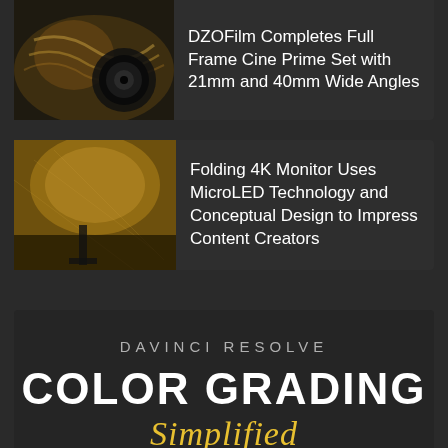[Figure (photo): Partial card showing camera/cine lens equipment photo on the left and article title text on the right]
DZOFilm Completes Full Frame Cine Prime Set with 21mm and 40mm Wide Angles
[Figure (photo): Card with a golden/textured surface photo on the left and article title on the right]
Folding 4K Monitor Uses MicroLED Technology and Conceptual Design to Impress Content Creators
[Figure (infographic): DaVinci Resolve COLOR GRADING Simplified promotional block with dark background]